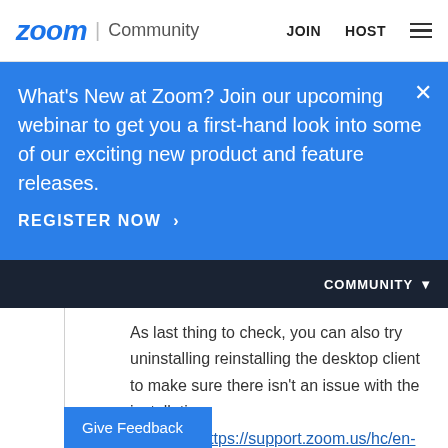zoom | Community  JOIN  HOST
What's New at Zoom? Join our upcoming webinar to get you a first-hand look into some of our exciting new product and feature releases.
REGISTER NOW >
COMMUNITY
As last thing to check, you can also try uninstalling reinstalling the desktop client to make sure there isn't an issue with the installation.
Uninstall: https://support.zoom.us/hc/en-us/articles/201362983-How-to-uninstall-Zoom
Reinstall: Zoom.us/download
Give Feedback